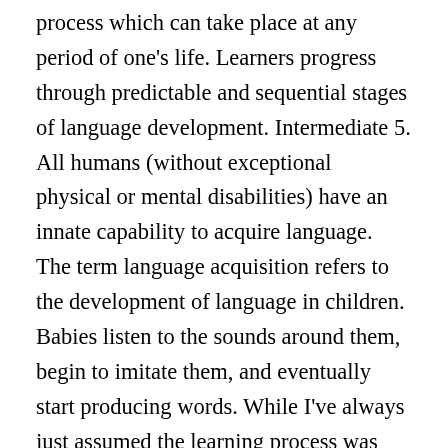process which can take place at any period of one's life. Learners progress through predictable and sequential stages of language development. Intermediate 5. All humans (without exceptional physical or mental disabilities) have an innate capability to acquire language. The term language acquisition refers to the development of language in children. Babies listen to the sounds around them, begin to imitate them, and eventually start producing words. While I've always just assumed the learning process was different for everyone, he was convinced the stages we go through are all actually the same. At birth, the infant vocal tract is in some ways more like that of an ape than that of an adult human. Stage 1: 0 – 100